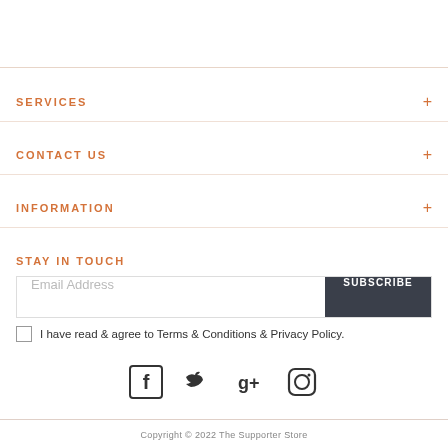SERVICES
CONTACT US
INFORMATION
STAY IN TOUCH
Email Address
SUBSCRIBE
I have read & agree to Terms & Conditions & Privacy Policy.
[Figure (illustration): Social media icons: Facebook, Twitter, Google+, Instagram]
Copyright © 2022 The Supporter Store